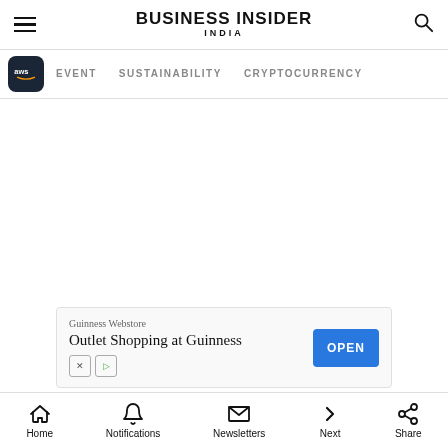BUSINESS INSIDER INDIA
EVENT  SUSTAINABILITY  CRYPTOCURRENCY
[Figure (screenshot): Advertisement banner for Guinness Webstore: Outlet Shopping at Guinness with OPEN button]
Home  Notifications  Newsletters  Next  Share